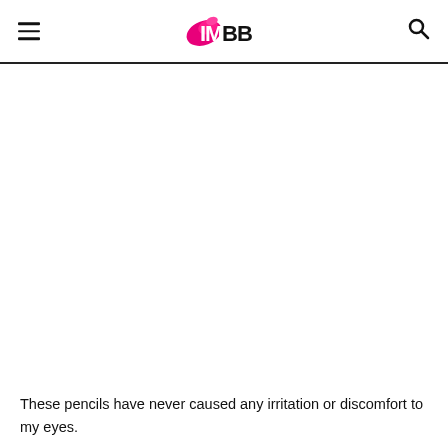IMBB
[Figure (photo): Large white/blank image area below the header, taking up most of the page center]
These pencils have never caused any irritation or discomfort to my eyes.